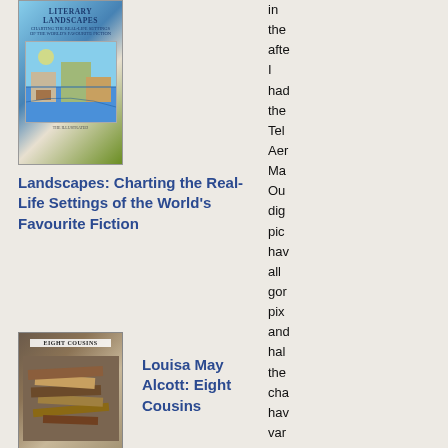[Figure (photo): Book cover of Literary Landscapes: Charting the Real-Life Settings of the World's Favourite Fiction]
Landscapes: Charting the Real-Life Settings of the World's Favourite Fiction
[Figure (photo): Book cover of Eight Cousins by Louisa May Alcott, showing stacked books]
Louisa May Alcott: Eight Cousins
[Figure (photo): Book cover of Rose in Bloom: A Sequel to Eight Cousins by Louisa M. Alcott]
Louisa M. Alcott: Rose in Bloom: A Sequel to Eight Cousins
in the after I had the Tel Aer Ma Ou dig pic hav all gor pix and hal the cha hav var do the